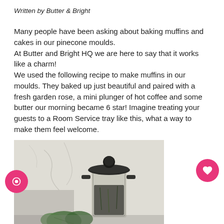Written by Butter & Bright
Many people have been asking about baking muffins and cakes in our pinecone moulds.
At Butter and Bright HQ we are here to say that it works like a charm!
We used the following recipe to make muffins in our moulds. They baked up just beautiful and paired with a fresh garden rose, a mini plunger of hot coffee and some butter our morning became 6 star! Imagine treating your guests to a Room Service tray like this, what a way to make them feel welcome.
[Figure (photo): Close-up photograph of a French press coffee maker with dark lid and glass body containing plants/herbs, against a white textured wall background with some green leaves visible at the bottom]